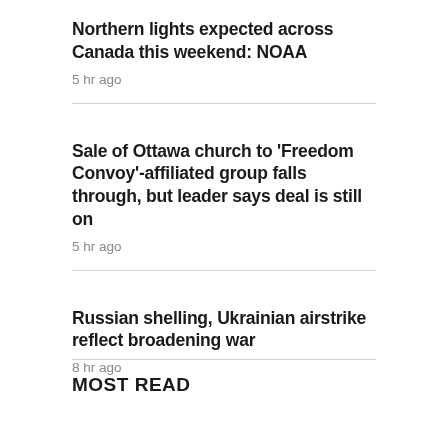Northern lights expected across Canada this weekend: NOAA
5 hr ago
Sale of Ottawa church to 'Freedom Convoy'-affiliated group falls through, but leader says deal is still on
5 hr ago
Russian shelling, Ukrainian airstrike reflect broadening war
8 hr ago
MOST READ